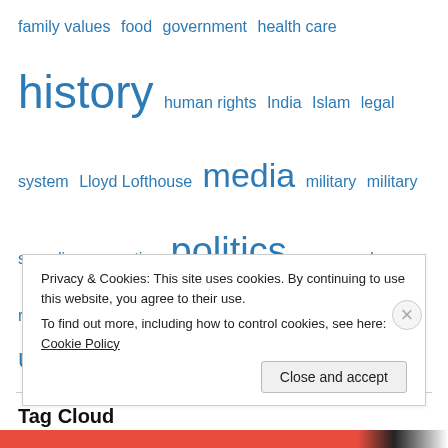family values  food  government  health care  history  human rights  India  Islam  legal system  Lloyd Lofthouse  media  military  military spending  parenting  politics  propaganda  religion  science  Taiwan  Taoism  Tibet  tourism  United States
Tag Cloud
America  Amy Chua  Asia  Battle Hymn of the Tiger Mother  Beijing  Bob Grant  British Empire  Buddhism  Chiang Kai-shek  China  China's economy  China's first emperor  China's Great Leap Forward  China: Portrait of a
Privacy & Cookies: This site uses cookies. By continuing to use this website, you agree to their use. To find out more, including how to control cookies, see here: Cookie Policy